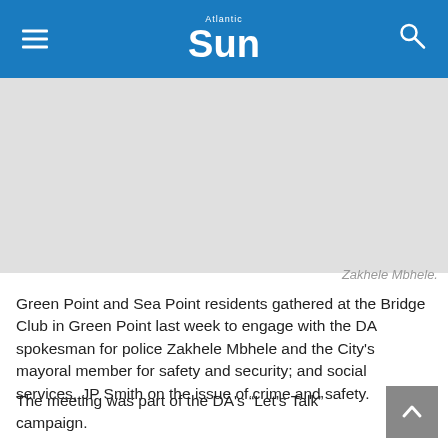Atlantic Sun
[Figure (photo): Photo placeholder — grey rectangle representing a news photo (Zakhele Mbhele)]
Zakhele Mbhele.
Green Point and Sea Point residents gathered at the Bridge Club in Green Point last week to engage with the DA spokesman for police Zakhele Mbhele and the City's mayoral member for safety and security; and social services, JP Smith on the issue of crime and safety.
The meeting was part of the DA's “Let’s Talk” campaign.